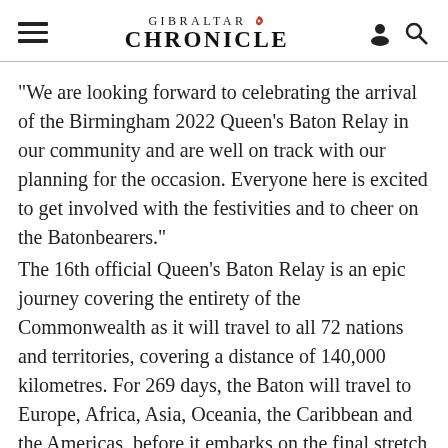GIBRALTAR CHRONICLE
“We are looking forward to celebrating the arrival of the Birmingham 2022 Queen’s Baton Relay in our community and are well on track with our planning for the occasion. Everyone here is excited to get involved with the festivities and to cheer on the Batonbearers.” The 16th official Queen’s Baton Relay is an epic journey covering the entirety of the Commonwealth as it will travel to all 72 nations and territories, covering a distance of 140,000 kilometres. For 269 days, the Baton will travel to Europe, Africa, Asia, Oceania, the Caribbean and the Americas, before it embarks on the final stretch of its journey across